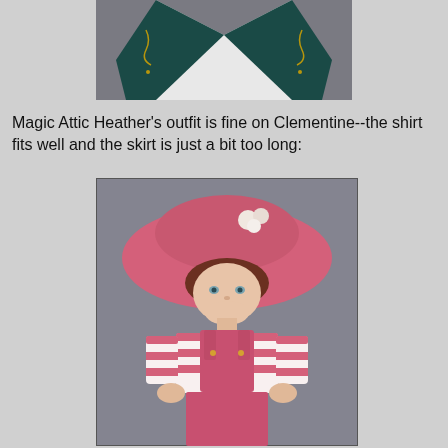[Figure (photo): Close-up of doll shoes/feet area showing white garment and dark teal/green embroidered shoes or shoe-like accessories against a grey background]
Magic Attic Heather's outfit is fine on Clementine--the shirt fits well and the skirt is just a bit too long:
[Figure (photo): A doll wearing a large pink wide-brim hat with white flower accents, pink and white striped shirt, and pink overalls, with red-brown hair and blue-grey eyes, photographed against a grey background]